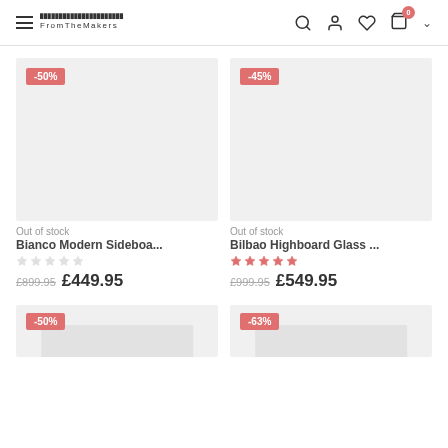FromTheMakers navigation bar with hamburger menu, logo, search, account, wishlist, cart (0) icons
[Figure (screenshot): Product image placeholder with -50% badge, light grey background]
Out of stock
Bianco Modern Sideboa...
£899.95  £449.95
[Figure (screenshot): Product image placeholder with -45% badge, light grey background]
Out of stock
Bilbao Highboard Glass ...
★★★★★
£999.95  £549.95
[Figure (screenshot): Product image placeholder with -50% badge, partially visible]
[Figure (screenshot): Product image placeholder with -63% badge, partially visible]